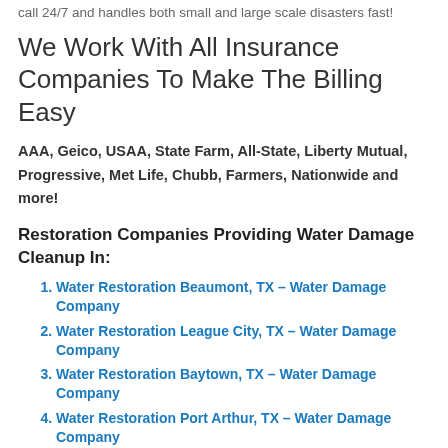call 24/7 and handles both small and large scale disasters fast!
We Work With All Insurance Companies To Make The Billing Easy
AAA, Geico, USAA, State Farm, All-State, Liberty Mutual, Progressive, Met Life, Chubb, Farmers, Nationwide and more!
Restoration Companies Providing Water Damage Cleanup In:
Water Restoration Beaumont, TX – Water Damage Company
Water Restoration League City, TX – Water Damage Company
Water Restoration Baytown, TX – Water Damage Company
Water Restoration Port Arthur, TX – Water Damage Company